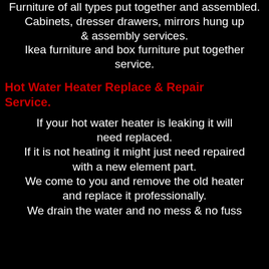Furniture of all types put together and assembled. Cabinets, dresser drawers, mirrors hung up & assembly services. Ikea furniture and box furniture put together service.
Hot Water Heater Replace & Repair Service.
If your hot water heater is leaking it will need replaced. If it is not heating it might just need repaired with a new element part. We come to you and remove the old heater and replace it professionally. We drain the water and no mess & no fuss